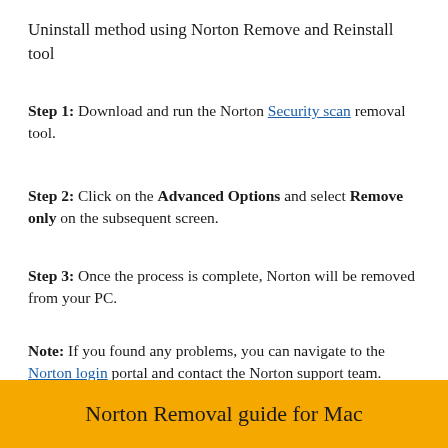Uninstall method using Norton Remove and Reinstall tool
Step 1: Download and run the Norton Security scan removal tool.
Step 2: Click on the Advanced Options and select Remove only on the subsequent screen.
Step 3: Once the process is complete, Norton will be removed from your PC.
Note: If you found any problems, you can navigate to the Norton login portal and contact the Norton support team.
Norton Removal guide for Mac